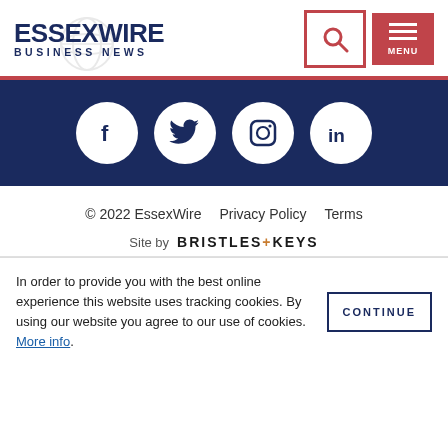[Figure (logo): EssexWire Business News logo with circular globe watermark, dark navy blue text]
[Figure (infographic): Social media icons: Facebook, Twitter, Instagram, LinkedIn — white circles on dark navy background]
© 2022 EssexWire   Privacy Policy   Terms
Site by  BRISTLES+KEYS
In order to provide you with the best online experience this website uses tracking cookies. By using our website you agree to our use of cookies. More info.